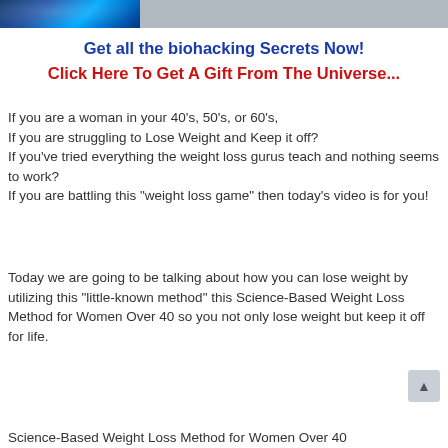[Figure (photo): Header strip: left portion shows a blue digital/tech themed image, right portion is gray.]
Get all the biohacking Secrets Now!
Click Here To Get A Gift From The Universe...
If you are a woman in your 40’s, 50’s, or 60’s,
If you are struggling to Lose Weight and Keep it off?
If you’ve tried everything the weight loss gurus teach and nothing seems to work?
If you are battling this “weight loss game” then today’s video is for you!
Today we are going to be talking about how you can lose weight by utilizing this “little-known method” this Science-Based Weight Loss Method for Women Over 40 so you not only lose weight but keep it off for life.
Science-Based Weight Loss Method for Women Over 40